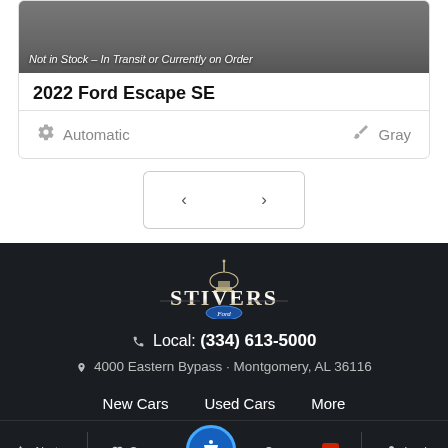[Figure (photo): Partial car image with overlay text 'Not in Stock – In Transit or Currently on Order']
2022 Ford Escape SE
Automatic   Gray
[Figure (other): Pagination buttons with left < and right > arrows]
[Figure (logo): Stivers Ford dealership logo]
Local: (334) 613-5000
4000 Eastern Bypass · Montgomery, AL 36116
New Cars   Used Cars   More
Alerts   Save   Compare 0   Login